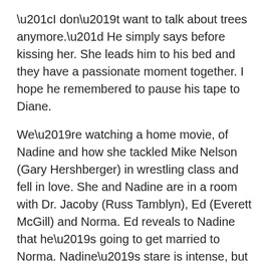“I don’t want to talk about trees anymore.” He simply says before kissing her. She leads him to his bed and they have a passionate moment together. I hope he remembered to pause his tape to Diane.
We’re watching a home movie, of Nadine and how she tackled Mike Nelson (Gary Hershberger) in wrestling class and fell in love. She and Nadine are in a room with Dr. Jacoby (Russ Tamblyn), Ed (Everett McGill) and Norma. Ed reveals to Nadine that he’s going to get married to Norma. Nadine’s stare is intense, but she smiles through it, holding on to Mike’s hand a little too tightly.
“Really?! Well that’s wonderful Eddie, ‘cause me and Mike are getting married, too!”, she says. You can hear the bones in Mike’s hand crack, and he wails in pain.